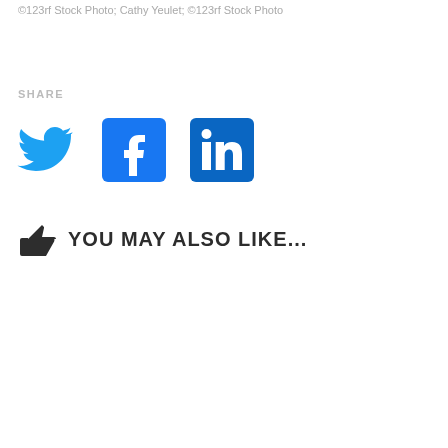©123rf Stock Photo; Cathy Yeulet; ©123rf Stock Photo
SHARE
[Figure (logo): Twitter bird icon in blue, Facebook 'f' icon in blue square, LinkedIn 'in' icon in blue square]
YOU MAY ALSO LIKE...